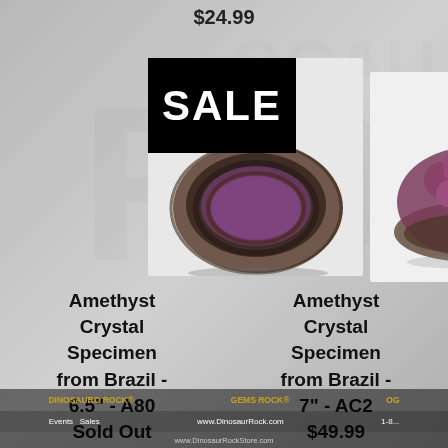$24.99
[Figure (photo): Amethyst crystal specimen geode from Brazil with SALE badge overlay, dark/purple tones]
[Figure (photo): Amethyst crystal specimen cluster from Brazil, purple crystal cluster on white background]
Amethyst Crystal Specimen from Brazil - 6.5" - A80 Sold Out
Amethyst Crystal Specimen from Brazil - 7" - AC2 $49.99
DINOSAURO ROCK®   GEMS ROCK®   Events   Sales   www.DinosaurRock.com   1-8...   www.DinosaurRockStore.com